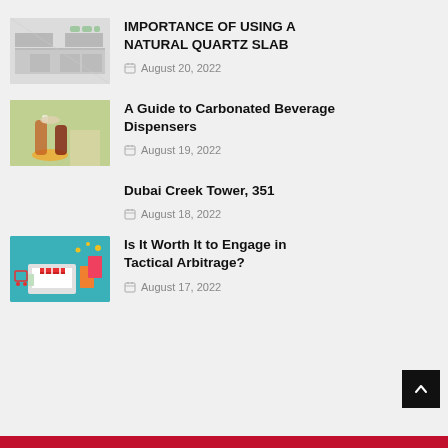[Figure (photo): Kitchen interior photo with white cabinets and countertop]
IMPORTANCE OF USING A NATURAL QUARTZ SLAB
August 20, 2022
[Figure (photo): Person pouring drink into carbonated beverage dispenser]
A Guide to Carbonated Beverage Dispensers
August 19, 2022
Dubai Creek Tower, 351
August 18, 2022
[Figure (photo): Shopping concept with laptop, bags, and storefront illustration]
Is It Worth It to Engage in Tactical Arbitrage?
August 17, 2022